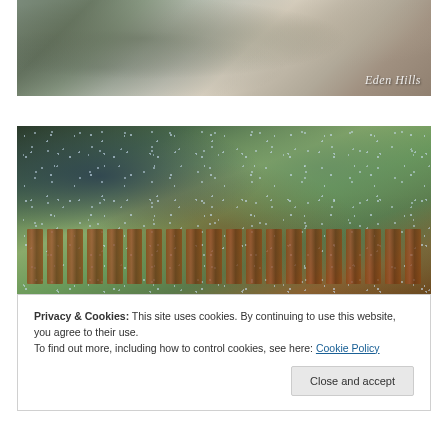[Figure (photo): Rainy outdoor scene of a building or barn in misty/foggy conditions, with 'Eden Hills' watermark text in italic at bottom right]
[Figure (photo): Close-up photo of a rain-covered window with water droplets, looking out at a wooden deck railing and green garden/yard beyond]
Privacy & Cookies: This site uses cookies. By continuing to use this website, you agree to their use.
To find out more, including how to control cookies, see here: Cookie Policy
Close and accept